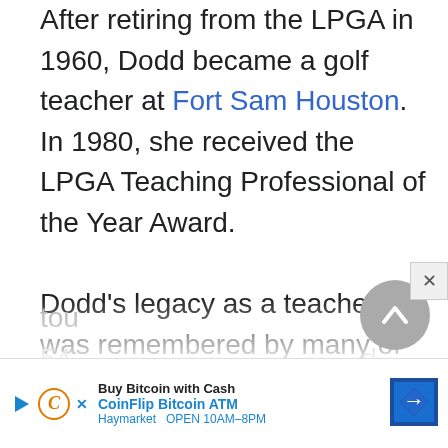After retiring from the LPGA in 1960, Dodd became a golf teacher at Fort Sam Houston. In 1980, she received the LPGA Teaching Professional of the Year Award.

Dodd's legacy as a teacher was remembered by many of her students, who named her as a major factor in their success in the sport. In 1997, when second-year LPGA Tour player Wendy Ward set an all-time LPGA tour … or 54 … d
[Figure (other): Advertisement overlay: CoinFlip Bitcoin ATM with play icon, C logo, X icon, blue arrow navigation icon, text 'Buy Bitcoin with Cash', 'CoinFlip Bitcoin ATM', 'Haymarket OPEN 10AM-8PM']